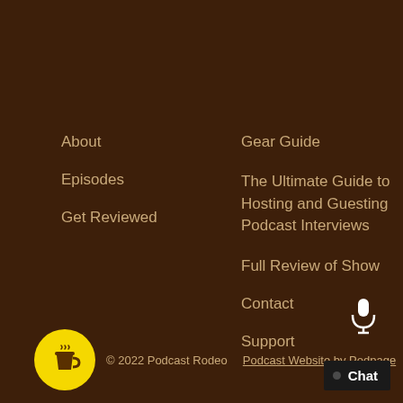About
Episodes
Get Reviewed
Gear Guide
The Ultimate Guide to Hosting and Guesting Podcast Interviews
Full Review of Show
Contact
Support
© 2022 Podcast Rodeo   Podcast Website by Podpage